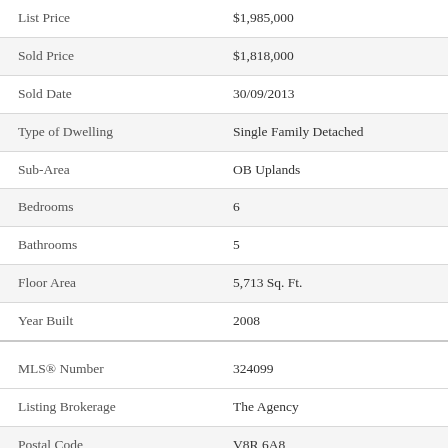| List Price | $1,985,000 |
| Sold Price | $1,818,000 |
| Sold Date | 30/09/2013 |
| Type of Dwelling | Single Family Detached |
| Sub-Area | OB Uplands |
| Bedrooms | 6 |
| Bathrooms | 5 |
| Floor Area | 5,713 Sq. Ft. |
| Year Built | 2008 |
| MLS® Number | 324099 |
| Listing Brokerage | The Agency |
| Postal Code | V8R 6A8 |